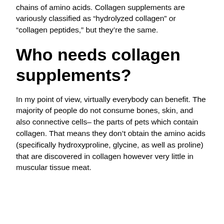chains of amino acids. Collagen supplements are variously classified as “hydrolyzed collagen” or “collagen peptides,” but they’re the same.
Who needs collagen supplements?
In my point of view, virtually everybody can benefit. The majority of people do not consume bones, skin, and also connective cells– the parts of pets which contain collagen. That means they don’t obtain the amino acids (specifically hydroxyproline, glycine, as well as proline) that are discovered in collagen however very little in muscular tissue meat.